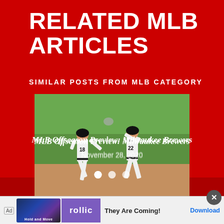RELATED MLB ARTICLES
SIMILAR POSTS FROM MLB CATEGORY
[Figure (photo): Two Milwaukee Brewers baseball players in white uniforms high-fiving on the field. Player #18 is running toward player #22 (Yelich) who is extending his arm for the high five.]
MLB Offseason Preview: Milwaukee Brewers
November 28, 2020
[Figure (other): Advertisement banner: Rollic game ad showing 'They Are Coming!' with a Download button.]